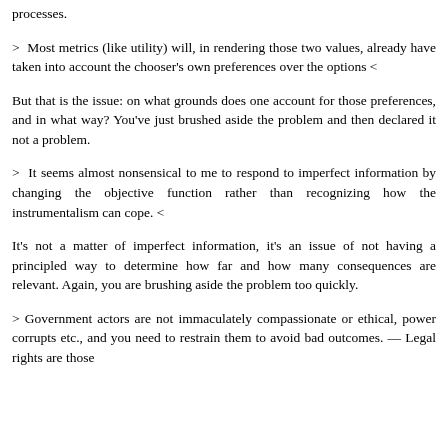processes.
> Most metrics (like utility) will, in rendering those two values, already have taken into account the chooser's own preferences over the options <
But that is the issue: on what grounds does one account for those preferences, and in what way? You've just brushed aside the problem and then declared it not a problem.
> It seems almost nonsensical to me to respond to imperfect information by changing the objective function rather than recognizing how the instrumentalism can cope. <
It's not a matter of imperfect information, it's an issue of not having a principled way to determine how far and how many consequences are relevant. Again, you are brushing aside the problem too quickly.
> Government actors are not immaculately compassionate or ethical, power corrupts etc., and you need to restrain them to avoid bad outcomes. — Legal rights are those